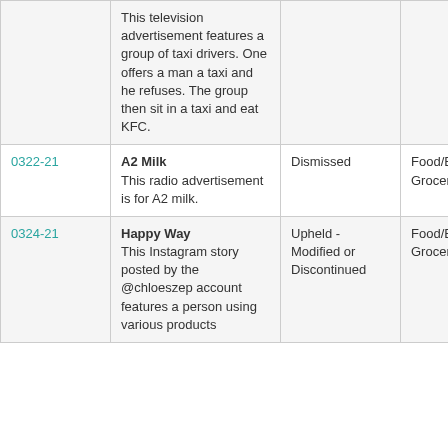| Case ID | Advertiser / Description | Decision | Category |
| --- | --- | --- | --- |
|  | This television advertisement features a group of taxi drivers. One offers a man a taxi and he refuses. The group then sit in a taxi and eat KFC. |  |  |
| 0322-21 | A2 Milk
This radio advertisement is for A2 milk. | Dismissed | Food/B Grocer |
| 0324-21 | Happy Way
This Instagram story posted by the @chloeszep account features a person using various products | Upheld - Modified or Discontinued | Food/B Grocer |